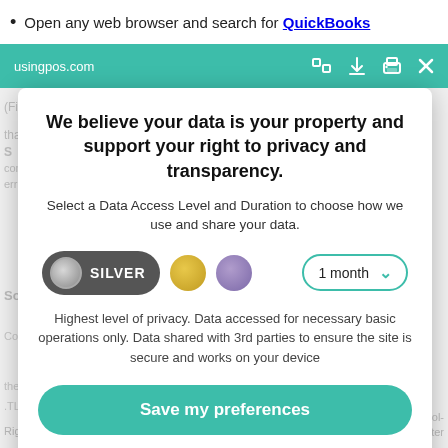Open any web browser and search for QuickBooks
usingpos.com
We believe your data is your property and support your right to privacy and transparency.
Select a Data Access Level and Duration to choose how we use and share your data.
[Figure (screenshot): Privacy consent controls: Silver pill toggle selected, gold circle, purple circle, and 1 month dropdown]
Highest level of privacy. Data accessed for necessary basic operations only. Data shared with 3rd parties to ensure the site is secure and works on your device
Save my preferences
Customize
Privacy policy